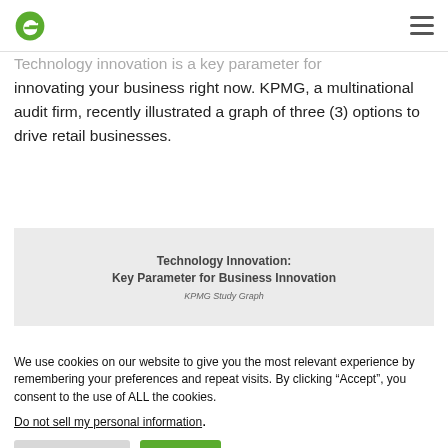e [logo] [hamburger menu]
Technology innovation is a key parameter for innovating your business right now. KPMG, a multinational audit firm, recently illustrated a graph of three (3) options to drive retail businesses.
[Figure (other): KPMG Study Graph image placeholder showing title 'Technology Innovation: Key Parameter for Business Innovation' and caption 'KPMG Study Graph']
We use cookies on our website to give you the most relevant experience by remembering your preferences and repeat visits. By clicking “Accept”, you consent to the use of ALL the cookies.
Do not sell my personal information.